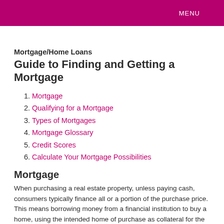MENU
Mortgage/Home Loans
Guide to Finding and Getting a Mortgage
1. Mortgage
2. Qualifying for a Mortgage
3. Types of Mortgages
4. Mortgage Glossary
5. Credit Scores
6. Calculate Your Mortgage Possibilities
Mortgage
When purchasing a real estate property, unless paying cash, consumers typically finance all or a portion of the purchase price. This means borrowing money from a financial institution to buy a home, using the intended home of purchase as collateral for the loan.
Mortgage payments include the principal (the amount borrowed), and